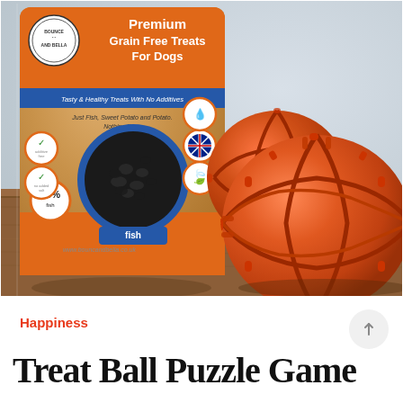[Figure (photo): Product photo showing a bag of Bounce and Bella Premium Grain Free Treats For Dogs (fish flavor, 80% fish) on a wooden table, alongside two orange rubber treat-dispensing puzzle balls]
Happiness
Treat Ball Puzzle Game